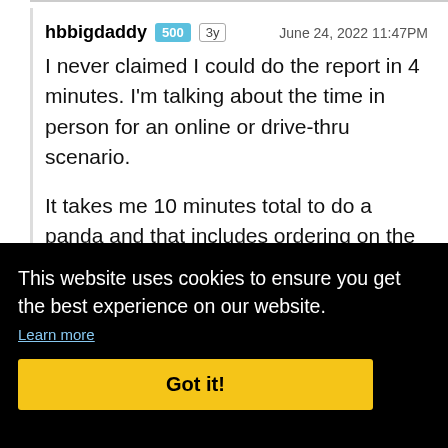hbbigdaddy  500  3y    June 24, 2022 11:47PM
I never claimed I could do the report in 4 minutes. I'm talking about the time in person for an online or drive-thru scenario.
It takes me 10 minutes total to do a panda and that includes ordering on the app (less than 1 minute) / picking up (2-3 minutes tops)/ filling out report (7
14AM
This website uses cookies to ensure you get the best experience on our website.
Learn more
Got it!